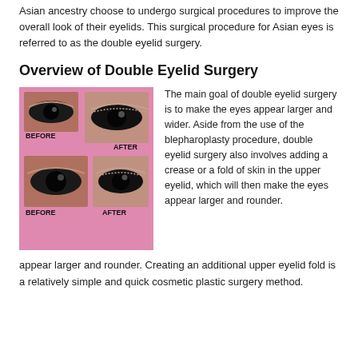Asian ancestry choose to undergo surgical procedures to improve the overall look of their eyelids. This surgical procedure for Asian eyes is referred to as the double eyelid surgery.
Overview of Double Eyelid Surgery
[Figure (photo): Before and after photos of double eyelid surgery showing two sets of eyes, labeled BEFORE and AFTER, on a pink background.]
The main goal of double eyelid surgery is to make the eyes appear larger and wider. Aside from the use of the blepharoplasty procedure, double eyelid surgery also involves adding a crease or a fold of skin in the upper eyelid, which will then make the eyes appear larger and rounder. Creating an additional upper eyelid fold is a relatively simple and quick cosmetic plastic surgery method.